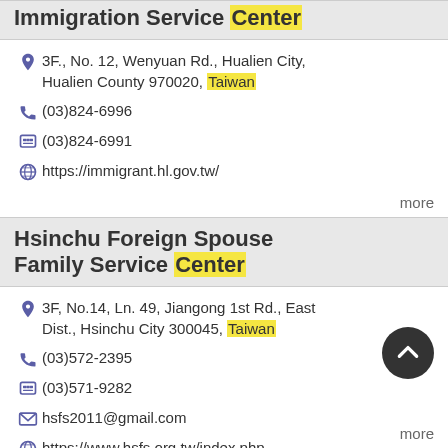Immigration Service Center
3F., No. 12, Wenyuan Rd., Hualien City, Hualien County 970020, Taiwan
(03)824-6996
(03)824-6991
https://immigrant.hl.gov.tw/
more
Hsinchu Foreign Spouse Family Service Center
3F, No.14, Ln. 49, Jiangong 1st Rd., East Dist., Hsinchu City 300045, Taiwan
(03)572-2395
(03)571-9282
hsfs2011@gmail.com
https://www.hsfs.org.tw/index.php
more